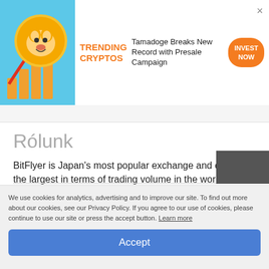[Figure (illustration): Ad banner with trending cryptos image showing a dog coin and bar chart arrows]
TRENDING CRYPTOS
Tamadoge Breaks New Record with Presale Campaign
INVEST NOW
Rólunk
BitFlyer is Japan's most popular exchange and one of the largest in terms of trading volume in the world. BitFlyer expanded to the USA, with approval to operate in 42 states.
Linkek
We use cookies for analytics, advertising and to improve our site. To find out more about our cookies, see our Privacy Policy. If you agree to our use of cookies, please continue to use our site or press the accept button. Learn more
Accept